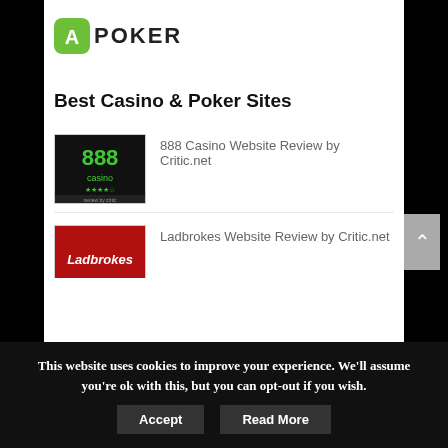[Figure (logo): APoker logo with green icon and bold uppercase POKER text]
Best Casino & Poker Sites
[Figure (screenshot): 888 Casino website review thumbnail - dark background with green 888 casino logo, 'review by critic' text at bottom]
888 Casino Website Review by Critic.net
[Figure (screenshot): Ladbrokes website review thumbnail - red background with Ladbrokes logo, 'review by critic' text at bottom]
Ladbrokes Website Review by Critic.net
This website uses cookies to improve your experience. We'll assume you're ok with this, but you can opt-out if you wish.
Accept
Read More